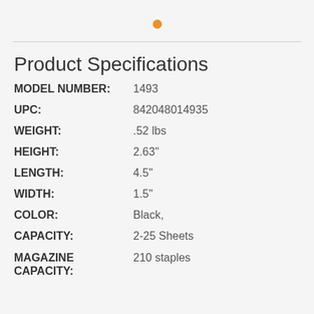[Figure (other): Orange dot decorative element centered at top]
Product Specifications
| MODEL NUMBER: | 1493 |
| UPC: | 842048014935 |
| WEIGHT: | .52 lbs |
| HEIGHT: | 2.63" |
| LENGTH: | 4.5" |
| WIDTH: | 1.5" |
| COLOR: | Black, |
| CAPACITY: | 2-25 Sheets |
| MAGAZINE CAPACITY: | 210 staples |